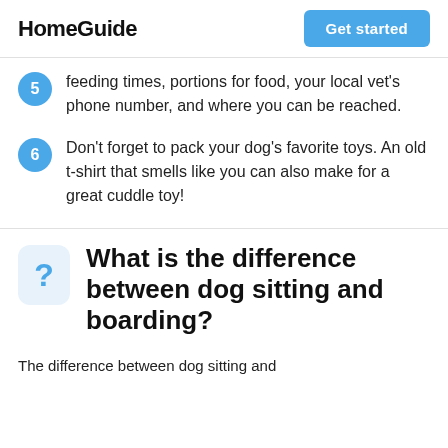HomeGuide | Get started
feeding times, portions for food, your local vet's phone number, and where you can be reached.
Don't forget to pack your dog's favorite toys. An old t-shirt that smells like you can also make for a great cuddle toy!
What is the difference between dog sitting and boarding?
The difference between dog sitting and